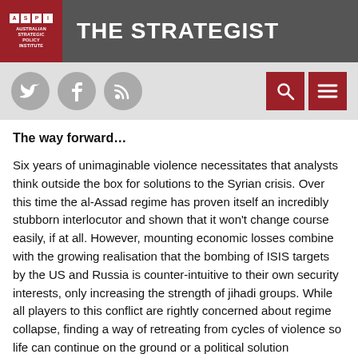THE STRATEGIST — Australian Strategic Policy Institute
The way forward…
Six years of unimaginable violence necessitates that analysts think outside the box for solutions to the Syrian crisis. Over this time the al-Assad regime has proven itself an incredibly stubborn interlocutor and shown that it won't change course easily, if at all. However, mounting economic losses combine with the growing realisation that the bombing of ISIS targets by the US and Russia is counter-intuitive to their own security interests, only increasing the strength of jihadi groups. While all players to this conflict are rightly concerned about regime collapse, finding a way of retreating from cycles of violence so life can continue on the ground or a political solution negotiated abroad is more vital now than ever.